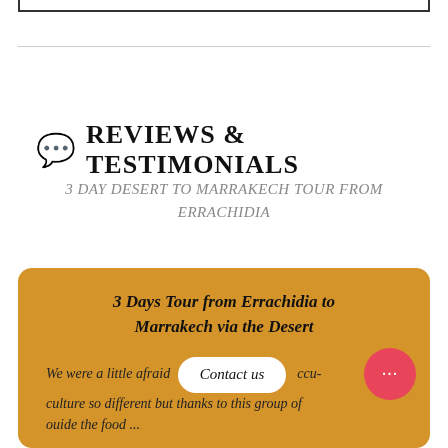REVIEWS & TESTIMONIALS
3 DAY DESERT TO MARRAKECH TOUR FROM ERRACHIDIA
3 Days Tour from Errachidia to Marrakech via the Desert
We were a little afraid ... culture so different but thanks to this group of ...